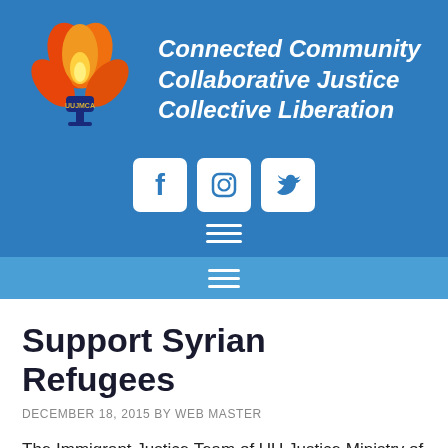[Figure (logo): UUJMCA logo: orange and red flower/flame with blue chalice and text UUJMCA]
Connected Community Collaborative Justice Collective Liberation
[Figure (infographic): Social media icons: Facebook, Instagram, Twitter in white rounded square boxes on blue background]
[Figure (infographic): Hamburger menu icon (three horizontal white lines) in header banner]
Hamburger navigation menu icon
Support Syrian Refugees
DECEMBER 18, 2015 BY WEB MASTER
The Immigrant Justice Team of UU Justice Ministry of California will begin to closely align